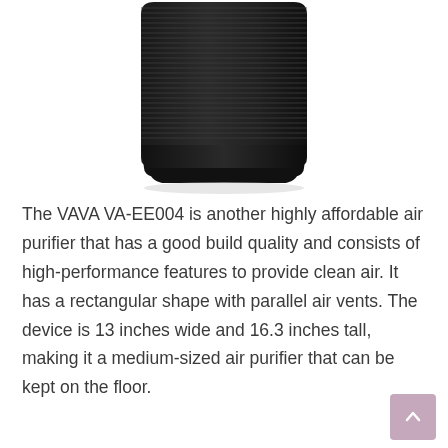[Figure (photo): Photo of a black rectangular air purifier (VAVA VA-EE004) with horizontal parallel vent lines on its body, viewed from a slight angle, showing the top and front. The device has a black plastic base and dark gray/black ribbed exterior.]
The VAVA VA-EE004 is another highly affordable air purifier that has a good build quality and consists of high-performance features to provide clean air. It has a rectangular shape with parallel air vents. The device is 13 inches wide and 16.3 inches tall, making it a medium-sized air purifier that can be kept on the floor.